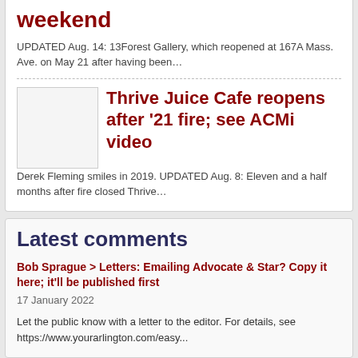weekend
UPDATED Aug. 14: 13Forest Gallery, which reopened at 167A Mass. Ave. on May 21 after having been…
Thrive Juice Cafe reopens after '21 fire; see ACMi video
Derek Fleming smiles in 2019. UPDATED Aug. 8: Eleven and a half months after fire closed Thrive…
Latest comments
Bob Sprague > Letters: Emailing Advocate & Star? Copy it here; it'll be published first
17 January 2022
Let the public know with a letter to the editor. For details, see https://www.yourarlington.com/easy...
Your People